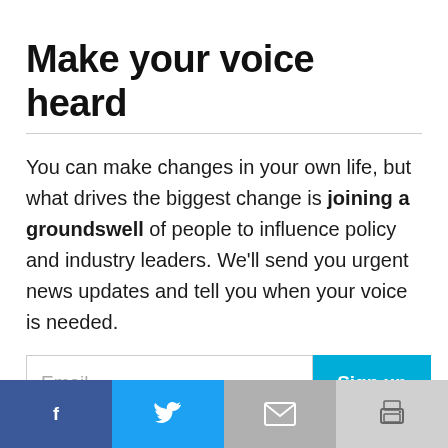Make your voice heard
You can make changes in your own life, but what drives the biggest change is joining a groundswell of people to influence policy and industry leaders. We'll send you urgent news updates and tell you when your voice is needed.
[Figure (other): Email input field with placeholder text 'Email' and a cyan 'Sign up' button to the right]
[Figure (other): Bottom social sharing bar with four icons: Facebook (dark blue), Twitter (light blue), Email (grey), Print (light grey)]